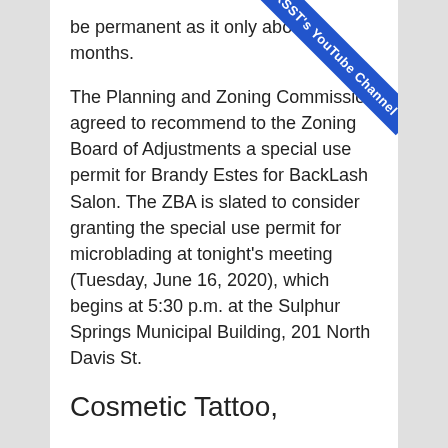be permanent as it only about 3 months.
The Planning and Zoning Commission agreed to recommend to the Zoning Board of Adjustments a special use permit for Brandy Estes for BackLash Salon. The ZBA is slated to consider granting the special use permit for microblading at tonight's meeting (Tuesday, June 16, 2020), which begins at 5:30 p.m. at the Sulphur Springs Municipal Building, 201 North Davis St.
Cosmetic Tattoo,